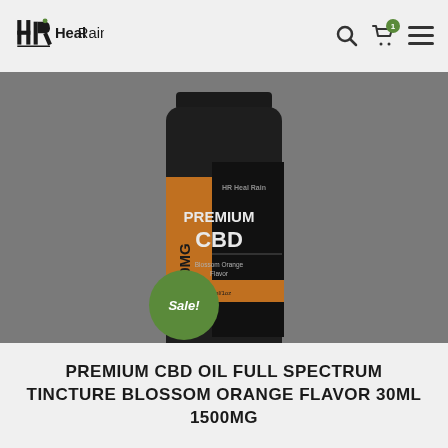Heal Rain
[Figure (photo): Dark cylindrical jar of Heal Rain Premium CBD Oil Full Spectrum Tincture, 1500mg, Blossom Orange Flavor, 30ml/1oz, with orange and black label]
Sale!
PREMIUM CBD OIL FULL SPECTRUM TINCTURE BLOSSOM ORANGE FLAVOR 30ML 1500MG